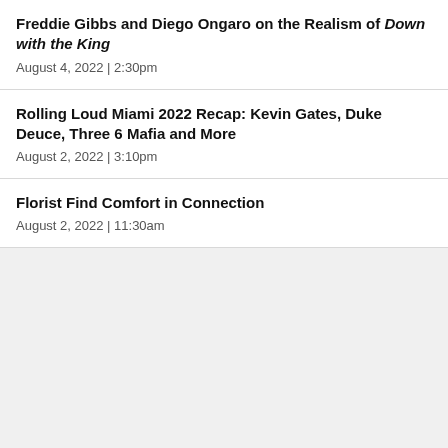Freddie Gibbs and Diego Ongaro on the Realism of Down with the King
August 4, 2022  |  2:30pm
Rolling Loud Miami 2022 Recap: Kevin Gates, Duke Deuce, Three 6 Mafia and More
August 2, 2022  |  3:10pm
Florist Find Comfort in Connection
August 2, 2022  |  11:30am